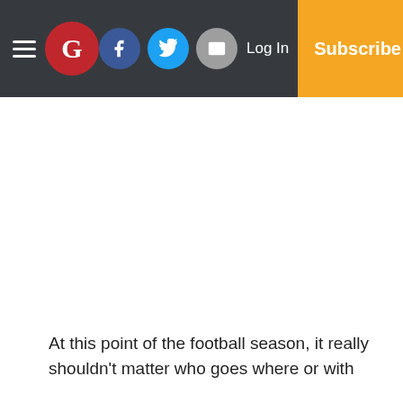The Guardian newspaper navigation bar with hamburger menu, logo, Facebook, Twitter, mail social icons, Log In link, and Subscribe button
At this point of the football season, it really shouldn&#039;t matter who goes where or with